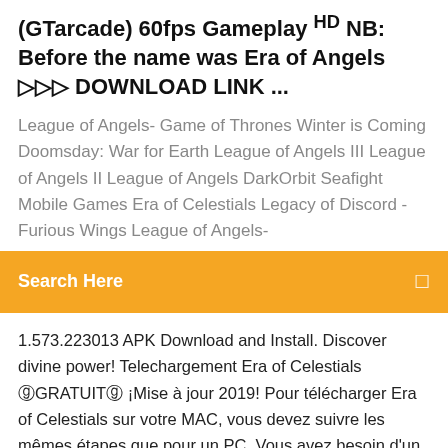(GTarcade) 60fps Gameplay HD NB: Before the name was Era of Angels ▷▷▷ DOWNLOAD LINK ...
League of Angels- Game of Thrones Winter is Coming Doomsday: War for Earth League of Angels III League of Angels II League of Angels DarkOrbit Seafight Mobile Games Era of Celestials Legacy of Discord - Furious Wings League of Angels-
Search Here
1.573.223013 APK Download and Install. Discover divine power! Telechargement Era of Celestials ⓖGRATUITⓖ ¡Mise à jour 2019! Pour télécharger Era of Celestials sur votre MAC, vous devez suivre les mêmes étapes que pour un PC. Vous avez besoin d'un émulateur Android et actuellement BlueStacks est le meilleur et le plus puissant sur le marché. Era of Celestials para Android - APK Baixar - m.apkpure.com
https://monstertutorials.com/ntmrzhus/download-